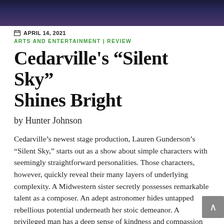[Figure (photo): Dark blue/purple night sky hero image banner at the top of the page]
APRIL 14, 2021
ARTS AND ENTERTAINMENT | REVIEW
Cedarville's “Silent Sky” Shines Bright
by Hunter Johnson
Cedarville’s newest stage production, Lauren Gunderson’s “Silent Sky,” starts out as a show about simple characters with seemingly straightforward personalities. Those characters, however, quickly reveal their many layers of underlying complexity. A Midwestern sister secretly possesses remarkable talent as a composer. An adept astronomer hides untapped rebellious potential underneath her stoic demeanor. A privileged man has a deep sense of kindness and compassion underneath his shallow exterior. The list goes on.